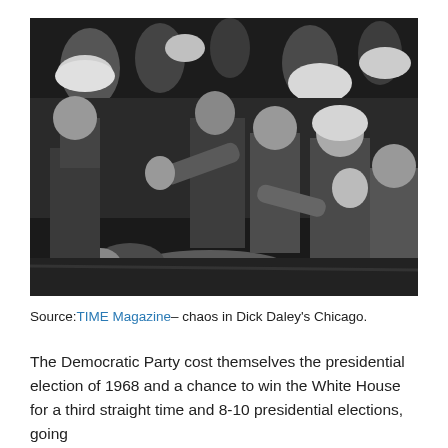[Figure (photo): Black and white photograph showing a chaotic scene of police officers in helmets and civilians in a struggle on the ground, referencing the 1968 Democratic National Convention riots in Chicago under Mayor Dick Daley.]
Source: TIME Magazine– chaos in Dick Daley's Chicago.
The Democratic Party cost themselves the presidential election of 1968 and a chance to win the White House for a third straight time and 8-10 presidential elections, going